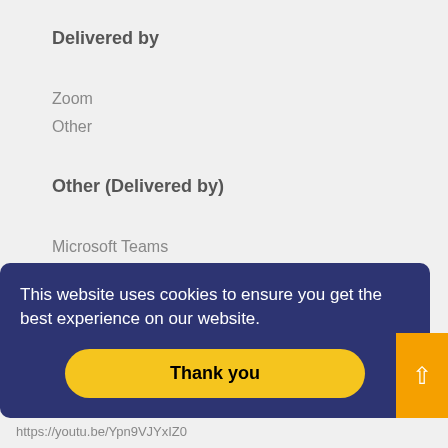Delivered by
Zoom
Other
Other (Delivered by)
Microsoft Teams
Additional info
I only have a license to host up to 100 people with Microsoft Teams, if you prefer to use Zoom you will have to arrange to host the
This website uses cookies to ensure you get the best experience on our website.
Thank you
https://youtu.be/Ypn9VJYxIZ0